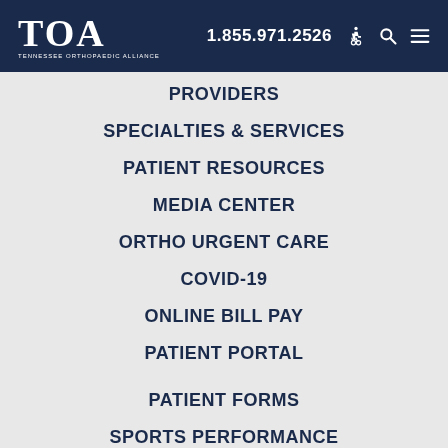TOA Tennessee Orthopaedic Alliance | 1.855.971.2526
PROVIDERS
SPECIALTIES & SERVICES
PATIENT RESOURCES
MEDIA CENTER
ORTHO URGENT CARE
COVID-19
ONLINE BILL PAY
PATIENT PORTAL
PATIENT FORMS
SPORTS PERFORMANCE
CAREERS
WORKERS' COMPENSATION